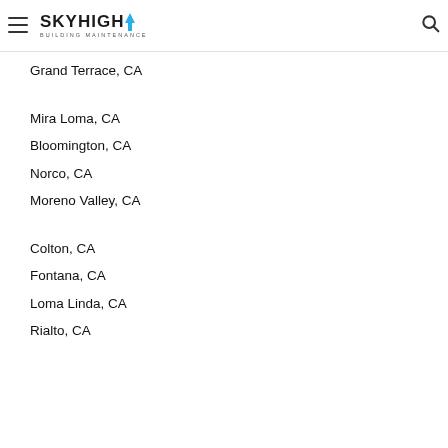SkyHigh Building Maintenance
Grand Terrace, CA
Mira Loma, CA
Bloomington, CA
Norco, CA
Moreno Valley, CA
Colton, CA
Fontana, CA
Loma Linda, CA
Rialto, CA